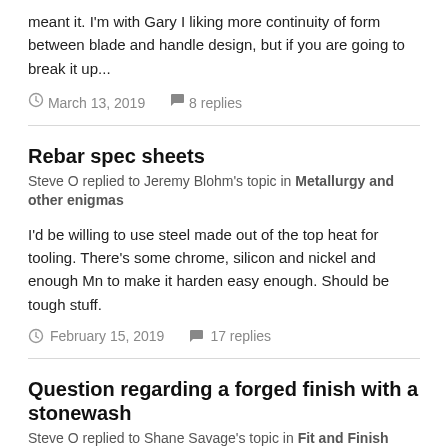meant it. I'm with Gary I liking more continuity of form between blade and handle design, but if you are going to break it up...
March 13, 2019   8 replies
Rebar spec sheets
Steve O replied to Jeremy Blohm's topic in Metallurgy and other enigmas
I'd be willing to use steel made out of the top heat for tooling. There's some chrome, silicon and nickel and enough Mn to make it harden easy enough. Should be tough stuff.
February 15, 2019   17 replies
Question regarding a forged finish with a stonewash
Steve O replied to Shane Savage's topic in Fit and Finish
Copy of a M9 bayonet? Not sure about the timing of using acid, but the more consistent the finish before tumbling or blasting, the more consistent the finish when you're done. Tumbling